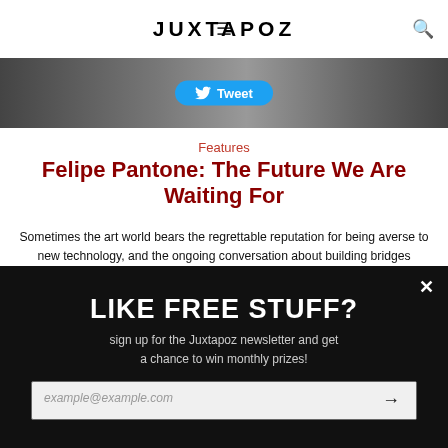JUXTAPOZ
[Figure (photo): Top partial photo with Tweet button overlay]
Features
Felipe Pantone: The Future We Are Waiting For
Sometimes the art world bears the regrettable reputation for being averse to new technology, and the ongoing conversation about building bridges between creativity in the tech world and traditional s
June 22, 2020
[Figure (photo): Photo of person (Facebook watermark) in an indoor setting]
LIKE FREE STUFF?
sign up for the Juxtapoz newsletter and get a chance to win monthly prizes!